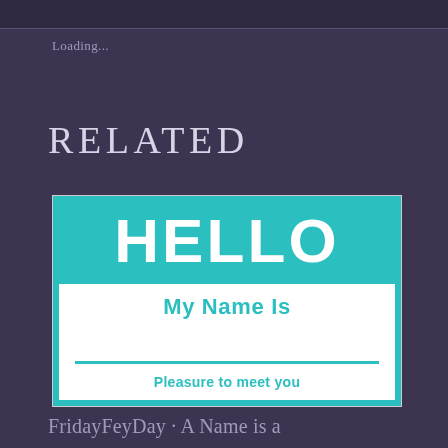Loading...
RELATED
[Figure (illustration): A name tag sticker with teal/turquoise background on top showing 'HELLO' in large white bold text, and white bottom section reading 'My Name Is' in teal, with a teal horizontal line near the bottom and partial text 'Pleasure to meet you' cut off.]
FridayFeyDay · A Name is a